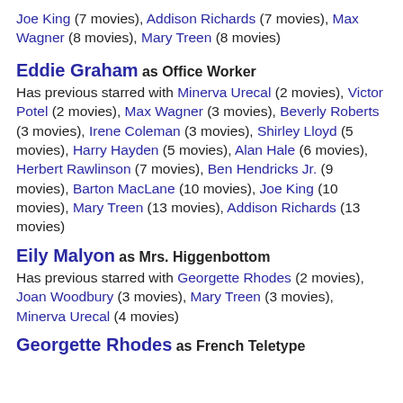Joe King (7 movies), Addison Richards (7 movies), Max Wagner (8 movies), Mary Treen (8 movies)
Eddie Graham as Office Worker
Has previous starred with Minerva Urecal (2 movies), Victor Potel (2 movies), Max Wagner (3 movies), Beverly Roberts (3 movies), Irene Coleman (3 movies), Shirley Lloyd (5 movies), Harry Hayden (5 movies), Alan Hale (6 movies), Herbert Rawlinson (7 movies), Ben Hendricks Jr. (9 movies), Barton MacLane (10 movies), Joe King (10 movies), Mary Treen (13 movies), Addison Richards (13 movies)
Eily Malyon as Mrs. Higgenbottom
Has previous starred with Georgette Rhodes (2 movies), Joan Woodbury (3 movies), Mary Treen (3 movies), Minerva Urecal (4 movies)
Georgette Rhodes as French Teletype Operator